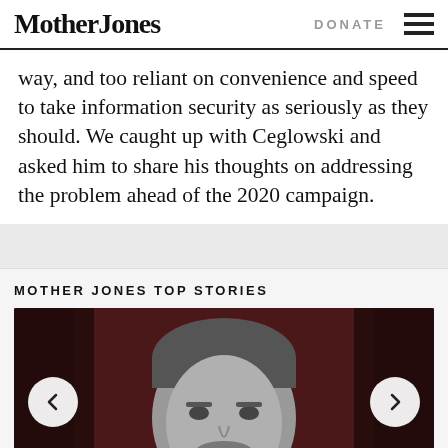Mother Jones | DONATE
way, and too reliant on convenience and speed to take information security as seriously as they should. We caught up with Ceglowski and asked him to share his thoughts on addressing the problem ahead of the 2020 campaign.
MOTHER JONES TOP STORIES
[Figure (photo): Black and white photo of a bearded man against a dark red/brown background, with left and right navigation arrows overlaid]